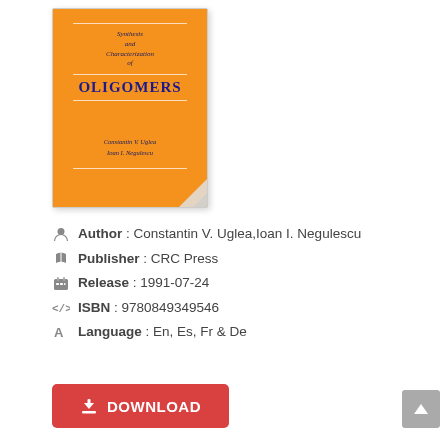[Figure (illustration): Book cover for 'Synthesis and Characterization of Oligomers' by Constantin V. Uglea and Ioan I. Negulescu, orange cover with dark blue text, CRC Press style]
Author : Constantin V. Uglea,Ioan I. Negulescu
Publisher : CRC Press
Release : 1991-07-24
ISBN : 9780849349546
Language : En, Es, Fr & De
DOWNLOAD